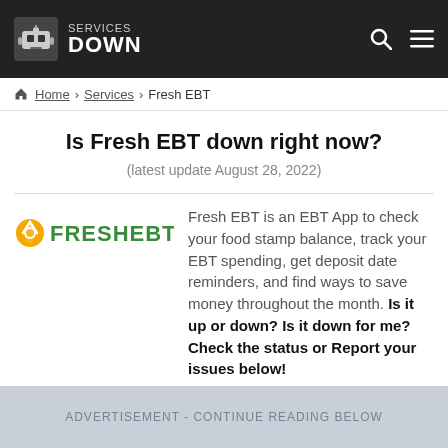SERVICES DOWN
Home > Services > Fresh EBT
Is Fresh EBT down right now?
(latest update August 28, 2022)
[Figure (logo): Fresh EBT logo with orange circle icon and green FRESHEBT text]
Fresh EBT is an EBT App to check your food stamp balance, track your EBT spending, get deposit date reminders, and find ways to save money throughout the month. Is it up or down? Is it down for me? Check the status or Report your issues below!
ADVERTISEMENT - CONTINUE READING BELOW